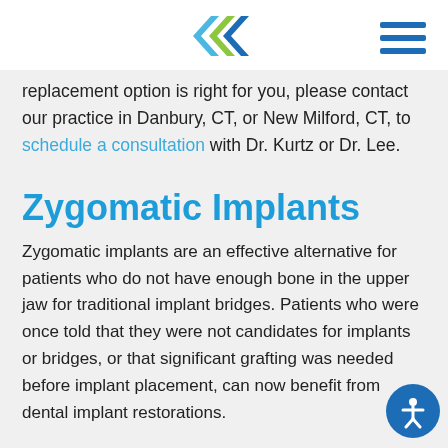[Logo and navigation header]
replacement option is right for you, please contact our practice in Danbury, CT, or New Milford, CT, to schedule a consultation with Dr. Kurtz or Dr. Lee.
Zygomatic Implants
Zygomatic implants are an effective alternative for patients who do not have enough bone in the upper jaw for traditional implant bridges. Patients who were once told that they were not candidates for implants or bridges, or that significant grafting was needed before implant placement, can now benefit from dental implant restorations.